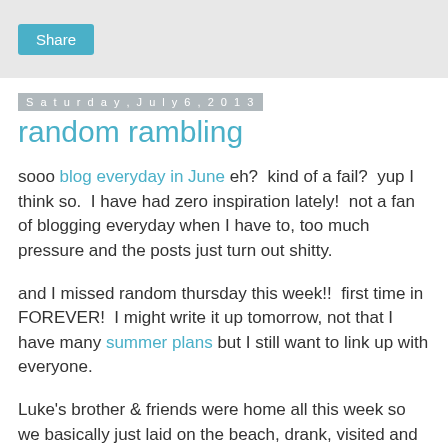Share
Saturday, July 6, 2013
random rambling
sooo blog everyday in June eh?  kind of a fail?  yup I think so.  I have had zero inspiration lately!  not a fan of blogging everyday when I have to, too much pressure and the posts just turn out shitty.
and I missed random thursday this week!!  first time in FOREVER!  I might write it up tomorrow, not that I have many summer plans but I still want to link up with everyone.
Luke's brother & friends were home all this week so we basically just laid on the beach, drank, visited and hung out the whole week.  really sad to see them go but I actually can't wait to get back into a routine.  I know I will be regretting saying that come Monday morning when I have to get up for work. I need to get back into eating three times a